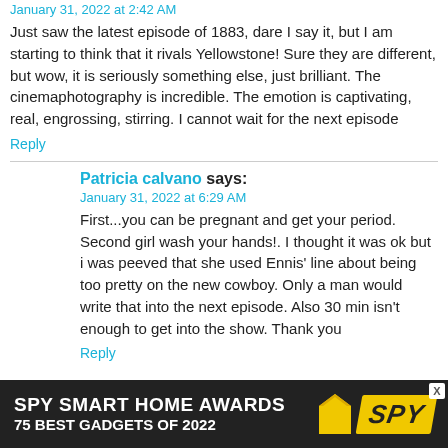January 31, 2022 at 2:42 AM
Just saw the latest episode of 1883, dare I say it, but I am starting to think that it rivals Yellowstone! Sure they are different, but wow, it is seriously something else, just brilliant. The cinemaphotography is incredible. The emotion is captivating, real, engrossing, stirring. I cannot wait for the next episode
Reply
Patricia calvano says:
January 31, 2022 at 6:29 AM
First...you can be pregnant and get your period. Second girl wash your hands!. I thought it was ok but i was peeved that she used Ennis' line about being too pretty on the new cowboy. Only a man would write that into the next episode. Also 30 min isn't enough to get into the show. Thank you
Reply
[Figure (infographic): Advertisement banner: SPY SMART HOME AWARDS / 75 BEST GADGETS OF 2022 with SPY logo on yellow background]